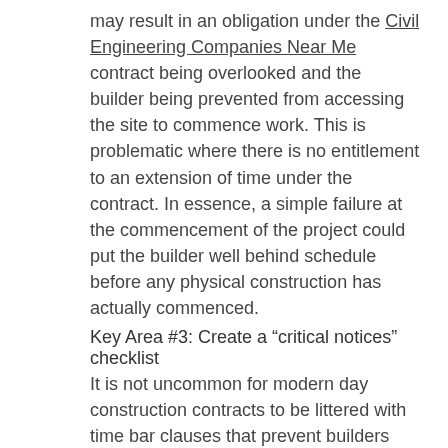may result in an obligation under the Civil Engineering Companies Near Me contract being overlooked and the builder being prevented from accessing the site to commence work. This is problematic where there is no entitlement to an extension of time under the contract. In essence, a simple failure at the commencement of the project could put the builder well behind schedule before any physical construction has actually commenced.
Key Area #3: Create a “critical notices” checklist
It is not uncommon for modern day construction contracts to be littered with time bar clauses that prevent builders from making claims against the owner (for any variations, delay claims or extensions of time) unless they provide contractually required notices within a set period of time.
For example, if extra work (or a change in the scope of work) is requested by the owner, most construction contracts will require the builder to notify any claims it